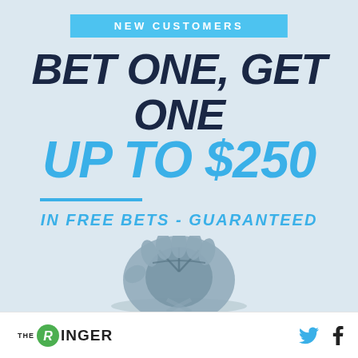[Figure (infographic): Sports betting advertisement with light blue background. Shows 'NEW CUSTOMERS' in cyan banner, 'BET ONE, GET ONE' in large dark navy text, 'UP TO $250' in large blue text with underline, 'IN FREE BETS - GUARANTEED' in blue text, and a baseball glove image over home plate.]
NEW CUSTOMERS
BET ONE, GET ONE
UP TO $250
IN FREE BETS - GUARANTEED
[Figure (logo): The Ringer logo with green circle R and social media icons for Twitter and Facebook]